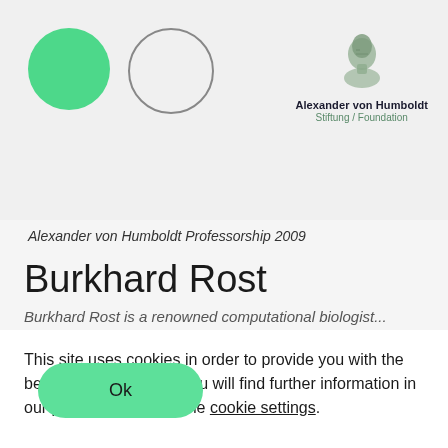[Figure (logo): Alexander von Humboldt Stiftung/Foundation logo with profile bust illustration and text]
Alexander von Humboldt Professorship 2009
Burkhard Rost
This site uses cookies in order to provide you with the best possible service. You will find further information in our privacy policy and the cookie settings.
Ok